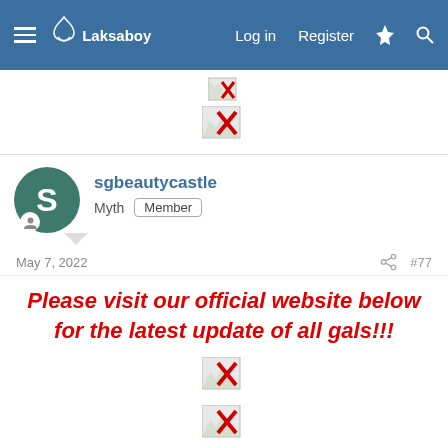Laksaboy | Log in | Register
[Figure (screenshot): Two broken image placeholders with red X icons]
sgbeautycastle
Myth  Member
May 7, 2022   #77
Please visit our official website below for the latest update of all gals!!!
[Figure (screenshot): Three broken image placeholders with red X icons at bottom of post]